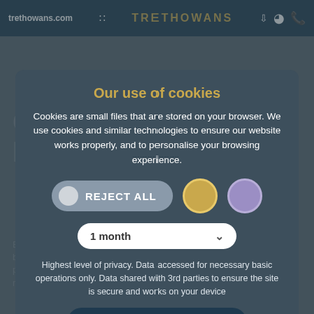trethowans.com | TRETHOWANS
Our use of cookies
Cookies are small files that are stored on your browser. We use cookies and similar technologies to ensure our website works properly, and to personalise your browsing experience.
REJECT ALL
1 month
Highest level of privacy. Data accessed for necessary basic operations only. Data shared with 3rd parties to ensure the site is secure and works on your device
Save my preferences
Preferences   Privacy policy